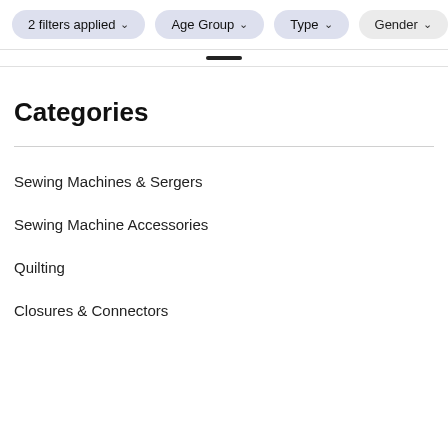2 filters applied  Age Group  Type  Gender
Categories
Sewing Machines & Sergers
Sewing Machine Accessories
Quilting
Closures & Connectors